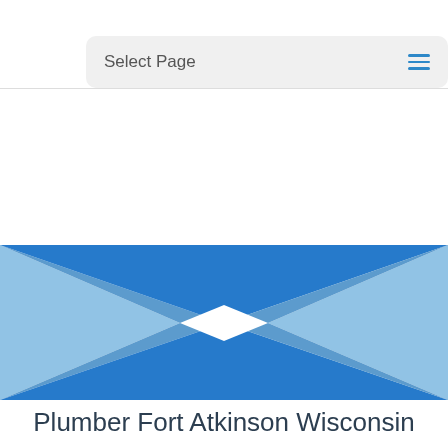Select Page
[Figure (illustration): Decorative blue bowtie/X-shaped geometric graphic with overlapping triangles in shades of blue and light blue forming an X pattern on a white background.]
Plumber Fort Atkinson Wisconsin